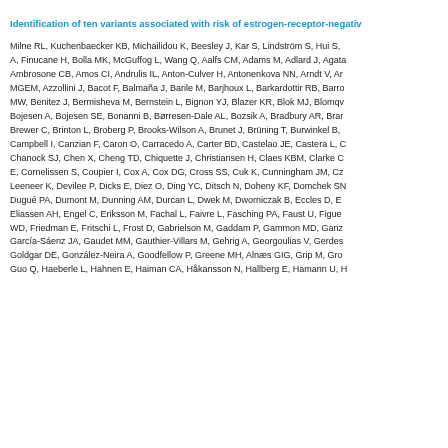Identification of ten variants associated with risk of estrogen-receptor-negative breast cancer
Milne RL, Kuchenbaecker KB, Michailidou K, Beesley J, Kar S, Lindström S, Hui S, A, Finucane H, Bolla MK, McGuffog L, Wang Q, Aalfs CM, Adams M, Adlard J, Agata Ambrosone CB, Amos CI, Andrulis IL, Anton-Culver H, Antonenkova NN, Arndt V, Ar MGEM, Azzollini J, Bacot F, Balmaña J, Barile M, Barjhoux L, Barkardottir RB, Barro MW, Benitez J, Bermisheva M, Bernstein L, Bignon YJ, Blazer KR, Blok MJ, Blomqv Bojesen A, Bojesen SE, Bonanni B, Børresen-Dale AL, Bozsik A, Bradbury AR, Brar Brewer C, Brinton L, Broberg P, Brooks-Wilson A, Brunet J, Brüning T, Burwinkel B, Campbell I, Canzian F, Caron O, Carracedo A, Carter BD, Castelao JE, Castera L, C Chanock SJ, Chen X, Cheng TD, Chiquette J, Christiansen H, Claes KBM, Clarke C E, Cornelissen S, Coupier I, Cox A, Cox DG, Cross SS, Cuk K, Cunningham JM, Cz Leeneer K, Devilee P, Dicks E, Diez O, Ding YC, Ditsch N, Doheny KF, Domchek SN Dugué PA, Dumont M, Dunning AM, Durcan L, Dwek M, Dworniczak B, Eccles D, E Eliassen AH, Engel C, Eriksson M, Fachal L, Faivre L, Fasching PA, Faust U, Figue WD, Friedman E, Fritschi L, Frost D, Gabrielson M, Gaddam P, Gammon MD, Ganz García-Sáenz JA, Gaudet MM, Gauthier-Villars M, Gehrig A, Georgoulias V, Gerdes Goldgar DE, González-Neira A, Goodfellow P, Greene MH, Alnæs GIG, Grip M, Gro Guo Q, Haeberle L, Hahnen E, Haiman CA, Håkansson N, Hallberg E, Hamann U, H